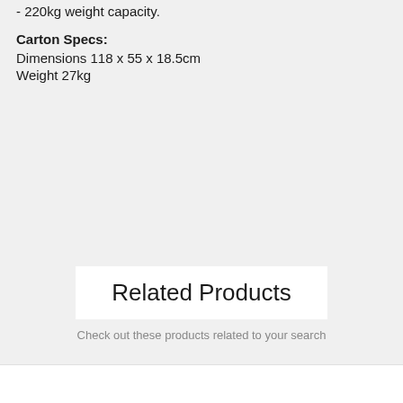- 220kg weight capacity.
Carton Specs:
Dimensions 118 x 55 x 18.5cm
Weight 27kg
Related Products
Check out these products related to your search